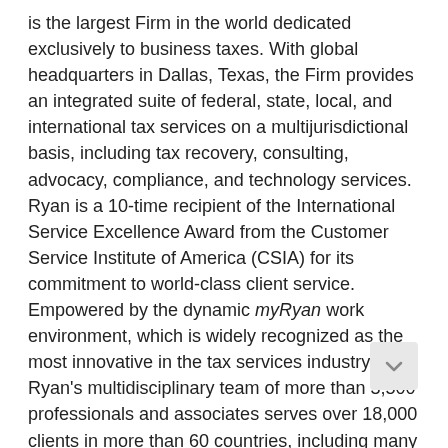is the largest Firm in the world dedicated exclusively to business taxes. With global headquarters in Dallas, Texas, the Firm provides an integrated suite of federal, state, local, and international tax services on a multijurisdictional basis, including tax recovery, consulting, advocacy, compliance, and technology services. Ryan is a 10-time recipient of the International Service Excellence Award from the Customer Service Institute of America (CSIA) for its commitment to world-class client service. Empowered by the dynamic myRyan work environment, which is widely recognized as the most innovative in the tax services industry, Ryan's multidisciplinary team of more than 3,500 professionals and associates serves over 18,000 clients in more than 60 countries, including many of the world's most prominent Global 5000 companies. More information about Ryan can be found at ryan.com. "Ryan" and "Firm" refer to the global organizational network and may refer to one or more of the member firms of Ryan International, each of which is a separate legal entity.
About Ares Management Corporation
Ares Management Corporation (NYSE: ARES) is a leading global